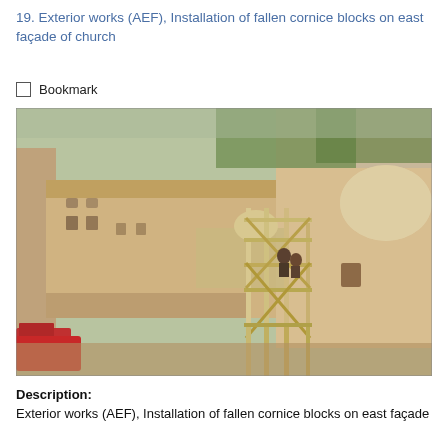19. Exterior works (AEF), Installation of fallen cornice blocks on east façade of church
Bookmark
[Figure (photo): Aerial/elevated view of a sandy-colored stone church exterior with scaffolding erected along the east façade. Workers visible on scaffolding. A dome is visible on the right side. Surrounding urban buildings and a red vehicle visible in the background.]
Description:
Exterior works (AEF), Installation of fallen cornice blocks on east façade of church